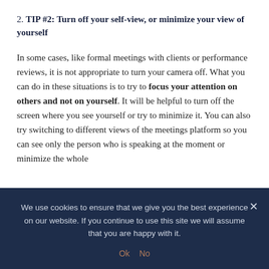2. TIP #2: Turn off your self-view, or minimize your view of yourself
In some cases, like formal meetings with clients or performance reviews, it is not appropriate to turn your camera off. What you can do in these situations is to try to focus your attention on others and not on yourself. It will be helpful to turn off the screen where you see yourself or try to minimize it. You can also try switching to different views of the meetings platform so you can see only the person who is speaking at the moment or minimize the whole
We use cookies to ensure that we give you the best experience on our website. If you continue to use this site we will assume that you are happy with it.
Ok  No